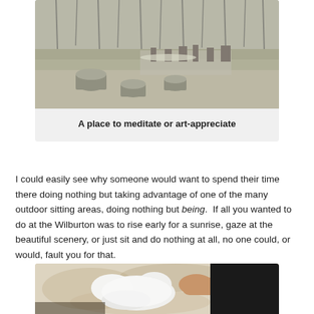[Figure (photo): Outdoor meadow area with stone cylinders/stumps arranged in a field, outdoor seating area and sculpture/art pieces in background, bare winter trees behind]
A place to meditate or art-appreciate
I could easily see why someone would want to spend their time there doing nothing but taking advantage of one of the many outdoor sitting areas, doing nothing but being.  If all you wanted to do at the Wilburton was to rise early for a sunrise, gaze at the beautiful scenery, or just sit and do nothing at all, no one could, or would, fault you for that.
[Figure (photo): Close-up of a white fluffy cat or dog being petted, lying on a decorative patterned rug/carpet, person's hand and dark clothing visible]